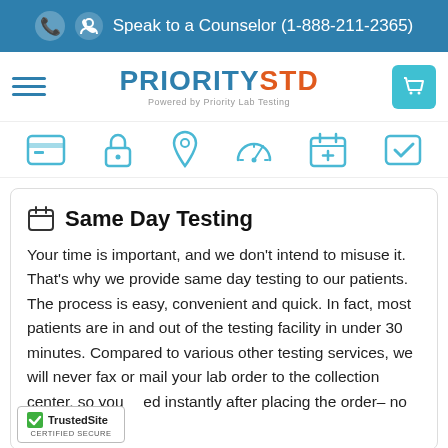Speak to a Counselor (1-888-211-2365)
[Figure (logo): PrioritySTD logo - PRIORITY in blue, STD in orange, Powered by Priority Lab Testing subtitle]
[Figure (infographic): Six teal icons in a row: credit card/order, lock, location pin, speedometer, medical cross calendar, checkmark]
Same Day Testing
Your time is important, and we don’t intend to misuse it. That’s why we provide same day testing to our patients. The process is easy, convenient and quick. In fact, most patients are in and out of the testing facility in under 30 minutes. Compared to various other testing services, we will never fax or mail your lab order to the collection center, so you …ed instantly after placing the order– no